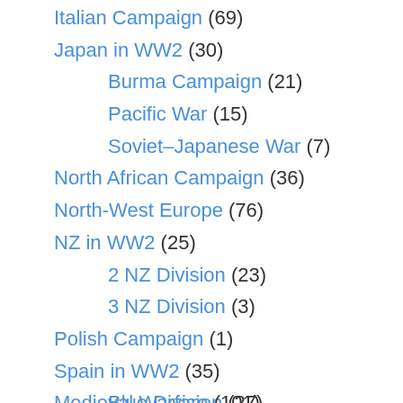Italian Campaign (69)
Japan in WW2 (30)
Burma Campaign (21)
Pacific War (15)
Soviet–Japanese War (7)
North African Campaign (36)
North-West Europe (76)
NZ in WW2 (25)
2 NZ Division (23)
3 NZ Division (3)
Polish Campaign (1)
Spain in WW2 (35)
Blue Division (27)
Medieval Warfare (101)